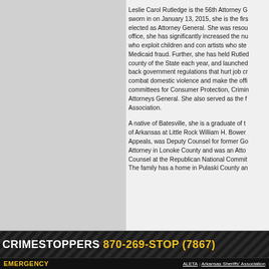Leslie Carol Rutledge is the 56th Attorney General, sworn in on January 13, 2015, she is the first woman elected as Attorney General. She was resourceful in office, she has significantly increased the number who exploit children and con artists who steal Medicaid fraud. Further, she has held Rutledge county of the State each year, and launched back government regulations that hurt job creation, combat domestic violence and make the office committees for Consumer Protection, Criminal Attorneys General. She also served as the first Association.
A native of Batesville, she is a graduate of the University of Arkansas at Little Rock William H. Bowen School of Appeals, was Deputy Counsel for former Governor, Attorney in Lonoke County and was an Attorney Counsel at the Republican National Committee. The family has a home in Pulaski County and...
CRIMESTOPPERS 870-269-STOP (7867)
EMERGENCY
ALETA | Arkansas Sheriffs' Association
Phone: 870-269-2825 • Fax: 870-269-...